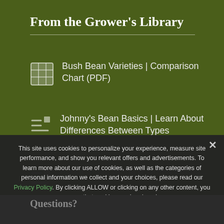From the Grower's Library
Bush Bean Varieties | Comparison Chart (PDF)
Johnny's Bean Basics | Learn About Differences Between Types
About Snap, String & Green Beans...
This site uses cookies to personalize your experience, measure site performance, and show you relevant offers and advertisements. To learn more about our use of cookies, as well as the categories of personal information we collect and your choices, please read our Privacy Policy. By clicking ALLOW or clicking on any other content, you agree that cookies can be placed.
ALLOW
Questions?